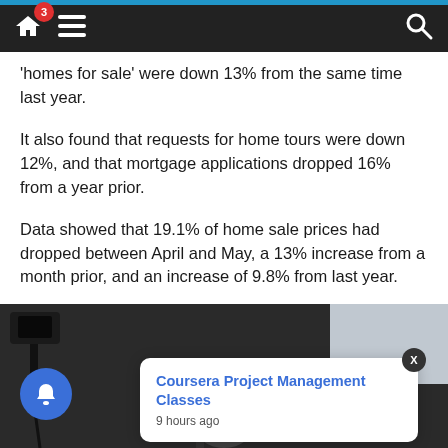Navigation bar with home, menu, and search icons
'homes for sale' were down 13% from the same time last year.
It also found that requests for home tours were down 12%, and that mortgage applications dropped 16% from a year prior.
Data showed that 19.1% of home sale prices had dropped between April and May, a 13% increase from a month prior, and an increase of 9.8% from last year.
[Figure (photo): Photo of a person with microphones and recording equipment at a press event or interview]
Coursera Project Management Classes
9 hours ago